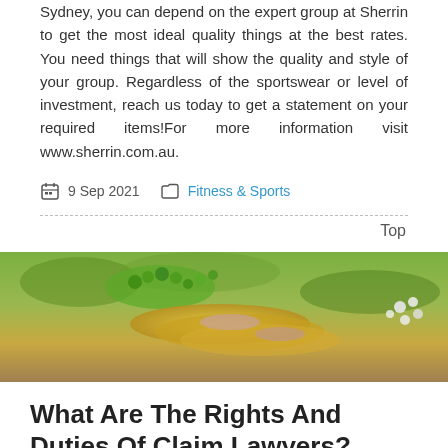Sydney, you can depend on the expert group at Sherrin to get the most ideal quality things at the best rates. You need things that will show the quality and style of your group. Regardless of the sportswear or level of investment, reach us today to get a statement on your required items!For more information visit www.sherrin.com.au.
9 Sep 2021   Fitness & Sports
Top
[Figure (photo): Close-up photo of decorative rings with green beads and floral accents on a blurred green background]
What Are The Rights And Duties Of Claim Lawyers?
[Figure (photo): Photo of what appears to be a pen or writing instrument on a surface, partially visible, dark tones]